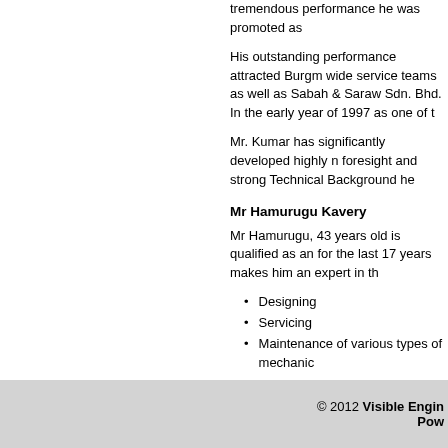tremendous performance he was promoted as
His outstanding performance attracted Burgm wide service teams as well as Sabah & Saraw Sdn. Bhd. In the early year of 1997 as one of t
Mr. Kumar has significantly developed highly n foresight and strong Technical Background he
Mr Hamurugu Kavery
Mr Hamurugu, 43 years old is qualified as an for the last 17 years makes him an expert in th
Designing
Servicing
Maintenance of various types of mechanic
As the proposed Regional Service Manager (F teams are located in Penang/Kelantan/Selang
Other Personnels
Ves group is ably managed by a list of the foll
Mrs Maria Papuraj – Corprate Services tha
External Consulting Partners – to provide h
Service & Maintenance Personnel
Quality systems personnel
© 2012 Visible Engin
Pow